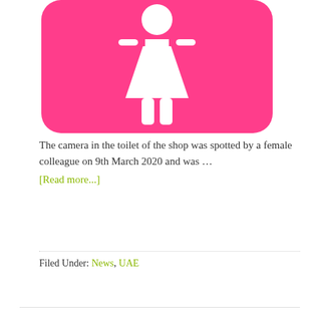[Figure (illustration): Pink rounded square icon with white female restroom figure (woman silhouette with dress) on hot pink background]
The camera in the toilet of the shop was spotted by a female colleague on 9th March 2020 and was … [Read more...]
Filed Under: News, UAE